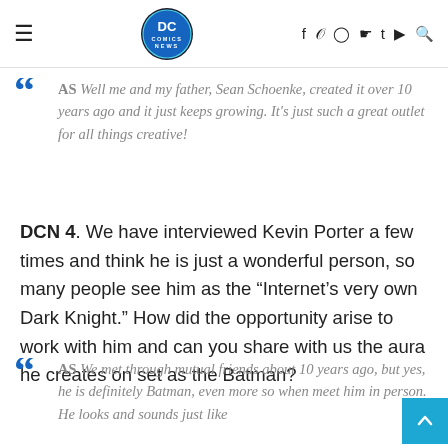DC Comics News - Navigation bar with logo, social icons
AS Well me and my father, Sean Schoenke, created it over 10 years ago and it just keeps growing. It's just such a great outlet for all things creative!
DCN 4. We have interviewed Kevin Porter a few times and think he is just a wonderful person, so many people see him as the “Internet’s very own Dark Knight.” How did the opportunity arise to work with him and can you share with us the aura he creates on set as the Batman?
AS We met through mutual friends about 10 years ago, but yes, he is definitely Batman, even more so when meet him in person. He looks and sounds just like